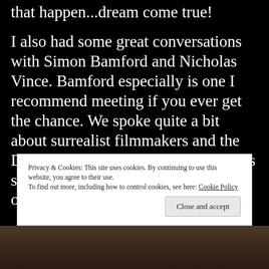that happen...dream come true!
I also had some great conversations with Simon Bamford and Nicholas Vince. Bamford especially is one I recommend meeting if you ever get the chance. We spoke quite a bit about surrealist filmmakers and the Dada movement. The dude knows his stuff and is a wealth of information on film history.
Privacy & Cookies: This site uses cookies. By continuing to use this website, you agree to their use.
To find out more, including how to control cookies, see here: Cookie Policy
Close and accept
[Figure (photo): Bottom strip showing partial view of people, dark brown tones]